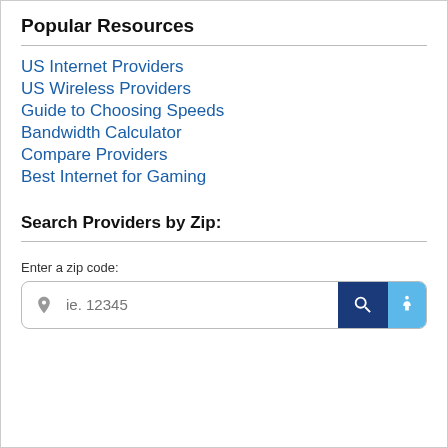Popular Resources
US Internet Providers
US Wireless Providers
Guide to Choosing Speeds
Bandwidth Calculator
Compare Providers
Best Internet for Gaming
Search Providers by Zip:
Enter a zip code:
ie. 12345